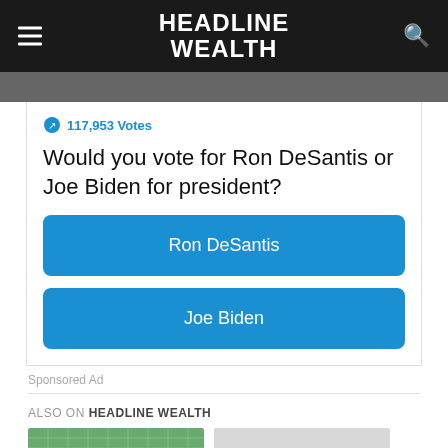HEADLINE WEALTH
117,953 Votes
Would you vote for Ron DeSantis or Joe Biden for president?
Ron DeSantis
Joe Biden
Sponsored Ad
ALSO ON HEADLINE WEALTH
[Figure (photo): Grid/network visualization thumbnail]
[Figure (photo): Internal Revenue Service document thumbnail]